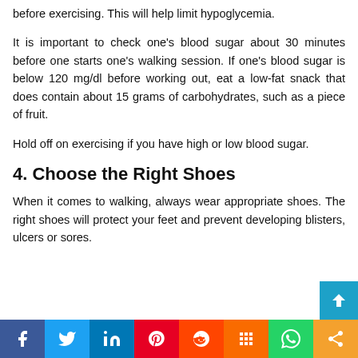before exercising. This will help limit hypoglycemia.
It is important to check one's blood sugar about 30 minutes before one starts one's walking session. If one's blood sugar is below 120 mg/dl before working out, eat a low-fat snack that does contain about 15 grams of carbohydrates, such as a piece of fruit.
Hold off on exercising if you have high or low blood sugar.
4. Choose the Right Shoes
When it comes to walking, always wear appropriate shoes. The right shoes will protect your feet and prevent developing blisters, ulcers or sores.